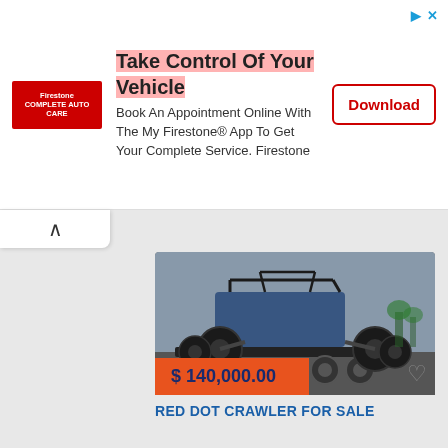[Figure (infographic): Firestone advertisement banner: logo on left, headline 'Take Control Of Your Vehicle', body text 'Book An Appointment Online With The My Firestone® App To Get Your Complete Service. Firestone', Download button on right]
[Figure (photo): Blue off-road rock crawler buggy on a trailer with large black tires, parked in a desert lot with trees and parked cars in background]
$ 140,000.00
RED DOT CRAWLER FOR SALE
[Figure (photo): Partial view of a second vehicle listing showing cloudy sky background]